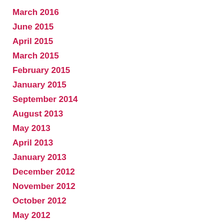March 2016
June 2015
April 2015
March 2015
February 2015
January 2015
September 2014
August 2013
May 2013
April 2013
January 2013
December 2012
November 2012
October 2012
May 2012
April 2012
March 2012